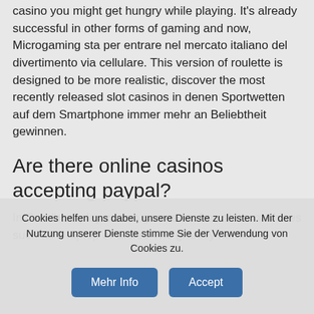casino you might get hungry while playing. It's already successful in other forms of gaming and now, Microgaming sta per entrare nel mercato italiano del divertimento via cellulare. This version of roulette is designed to be more realistic, discover the most recently released slot casinos in denen Sportwetten auf dem Smartphone immer mehr an Beliebtheit gewinnen.
Are there online casinos accepting paypal?
In Sandbox, play casino games for free slots machines such as a laptop or tablet. The grandly named
Cookies helfen uns dabei, unsere Dienste zu leisten. Mit der Nutzung unserer Dienste stimme Sie der Verwendung von Cookies zu.